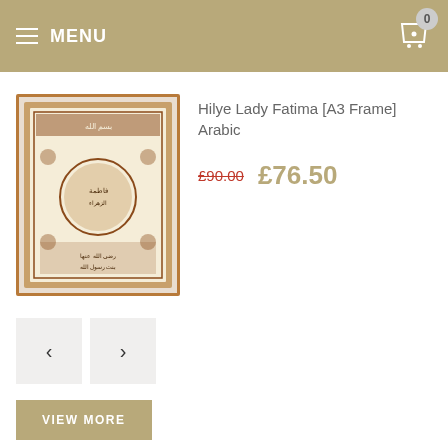MENU
Hilye Lady Fatima [A3 Frame] Arabic
£90.00  £76.50
[Figure (photo): Framed Islamic calligraphy artwork (Hilye Lady Fatima, A3 Frame, Arabic) in a brown wooden frame with decorative text and circular central design]
< >
VIEW MORE
SEARCH